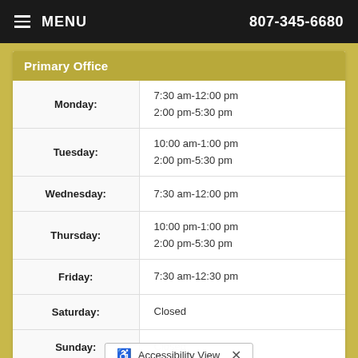MENU   807-345-6680
Primary Office
| Day | Hours |
| --- | --- |
| Monday: | 7:30 am-12:00 pm
2:00 pm-5:30 pm |
| Tuesday: | 10:00 am-1:00 pm
2:00 pm-5:30 pm |
| Wednesday: | 7:30 am-12:00 pm |
| Thursday: | 10:00 pm-1:00 pm
2:00 pm-5:30 pm |
| Friday: | 7:30 am-12:30 pm |
| Saturday: | Closed |
| Sunday: | Closed |